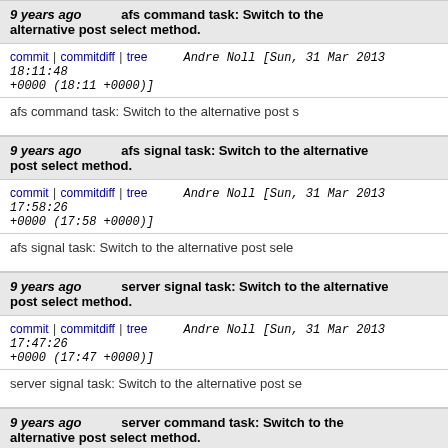9 years ago   afs command task: Switch to the alternative post select method.
commit | commitdiff | tree   Andre Noll [Sun, 31 Mar 2013 18:11:48 +0000 (18:11 +0000)]
afs command task: Switch to the alternative post s
9 years ago   afs signal task: Switch to the alternative post select method.
commit | commitdiff | tree   Andre Noll [Sun, 31 Mar 2013 17:58:26 +0000 (17:58 +0000)]
afs signal task: Switch to the alternative post sele
9 years ago   server signal task: Switch to the alternative post select method.
commit | commitdiff | tree   Andre Noll [Sun, 31 Mar 2013 17:47:26 +0000 (17:47 +0000)]
server signal task: Switch to the alternative post se
9 years ago   server command task: Switch to the alternative post select method.
commit | commitdiff | tree   Andre Noll [Sun, 31 Mar 2013 17:42:17 +0000 (17:42 +0000)]